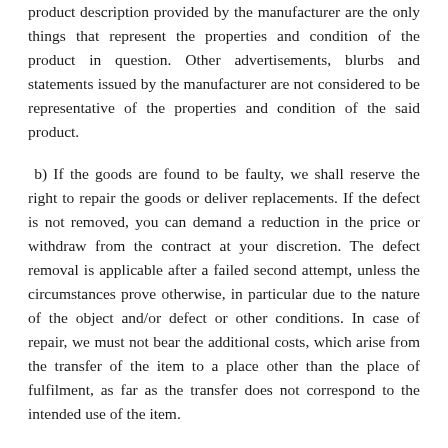product description provided by the manufacturer are the only things that represent the properties and condition of the product in question. Other advertisements, blurbs and statements issued by the manufacturer are not considered to be representative of the properties and condition of the said product.
b) If the goods are found to be faulty, we shall reserve the right to repair the goods or deliver replacements. If the defect is not removed, you can demand a reduction in the price or withdraw from the contract at your discretion. The defect removal is applicable after a failed second attempt, unless the circumstances prove otherwise, in particular due to the nature of the object and/or defect or other conditions. In case of repair, we must not bear the additional costs, which arise from the transfer of the item to a place other than the place of fulfilment, as far as the transfer does not correspond to the intended use of the item.
c) The warranty period amounts to a period of one year after delivery of the product. The reduction in time limit does not